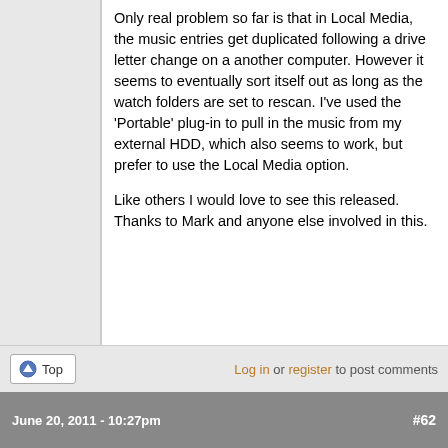Only real problem so far is that in Local Media, the music entries get duplicated following a drive letter change on a another computer. However it seems to eventually sort itself out as long as the watch folders are set to rescan. I've used the 'Portable' plug-in to pull in the music from my external HDD, which also seems to work, but prefer to use the Local Media option.

Like others I would love to see this released. Thanks to Mark and anyone else involved in this.
Top
Log in or register to post comments
June 20, 2011 - 10:27pm  #62